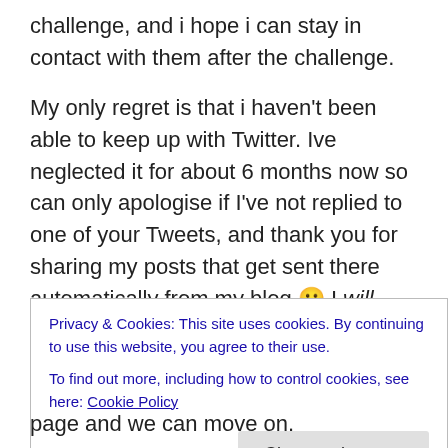challenge, and i hope i can stay in contact with them after the challenge.
My only regret is that i haven't been able to keep up with Twitter. Ive neglected it for about 6 months now so can only apologise if I've not replied to one of your Tweets, and thank you for sharing my posts that get sent there automatically from my blog 🙂 I will catch up in May.
Right, on with todays word…the random word generator gave me the word Mother… Oh great!…this isn't really a word i want to talk about and conjures up a myriad of
Privacy & Cookies: This site uses cookies. By continuing to use this website, you agree to their use.
To find out more, including how to control cookies, see here: Cookie Policy
page and we can move on.